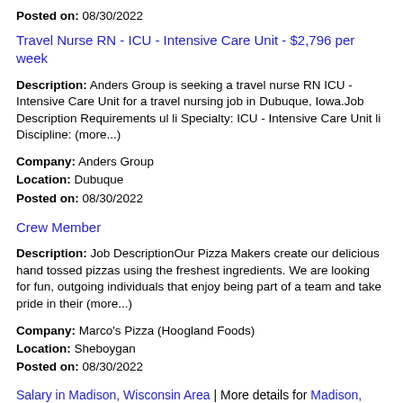Posted on: 08/30/2022
Travel Nurse RN - ICU - Intensive Care Unit - $2,796 per week
Description: Anders Group is seeking a travel nurse RN ICU - Intensive Care Unit for a travel nursing job in Dubuque, Iowa.Job Description Requirements ul li Specialty: ICU - Intensive Care Unit li Discipline: (more...)
Company: Anders Group
Location: Dubuque
Posted on: 08/30/2022
Crew Member
Description: Job DescriptionOur Pizza Makers create our delicious hand tossed pizzas using the freshest ingredients. We are looking for fun, outgoing individuals that enjoy being part of a team and take pride in their (more...)
Company: Marco's Pizza (Hoogland Foods)
Location: Sheboygan
Posted on: 08/30/2022
Salary in Madison, Wisconsin Area | More details for Madison, Wisconsin Jobs |Salary